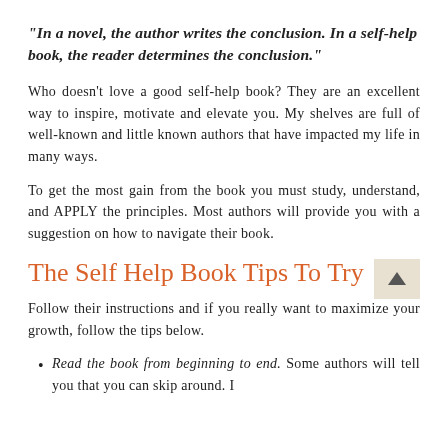"In a novel, the author writes the conclusion. In a self-help book, the reader determines the conclusion."
Who doesn't love a good self-help book? They are an excellent way to inspire, motivate and elevate you. My shelves are full of well-known and little known authors that have impacted my life in many ways.
To get the most gain from the book you must study, understand, and APPLY the principles. Most authors will provide you with a suggestion on how to navigate their book.
The Self Help Book Tips To Try
Follow their instructions and if you really want to maximize your growth, follow the tips below.
Read the book from beginning to end. Some authors will tell you that you can skip around. I